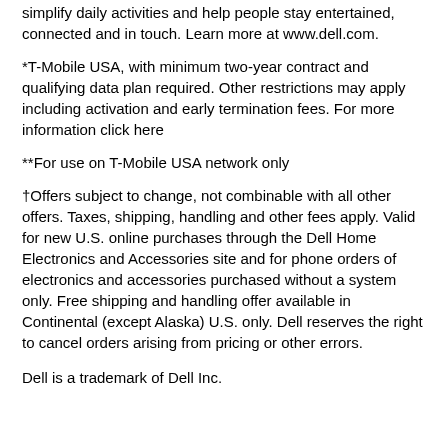simplify daily activities and help people stay entertained, connected and in touch. Learn more at www.dell.com.
*T-Mobile USA, with minimum two-year contract and qualifying data plan required. Other restrictions may apply including activation and early termination fees. For more information click here
**For use on T-Mobile USA network only
†Offers subject to change, not combinable with all other offers. Taxes, shipping, handling and other fees apply. Valid for new U.S. online purchases through the Dell Home Electronics and Accessories site and for phone orders of electronics and accessories purchased without a system only. Free shipping and handling offer available in Continental (except Alaska) U.S. only. Dell reserves the right to cancel orders arising from pricing or other errors.
Dell is a trademark of Dell Inc.